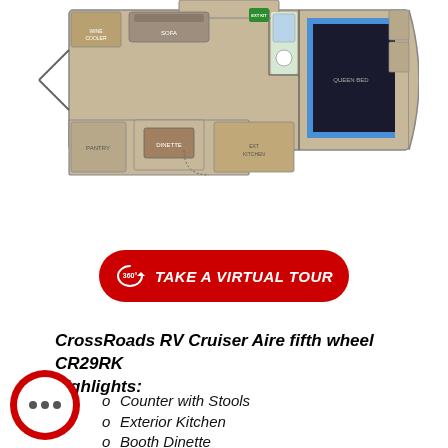[Figure (schematic): Top-down floor plan of CrossRoads RV Cruiser Aire fifth wheel CR29RK showing room layout including queen bed, dinette, sofa, kitchen, bathroom, and exterior kitchen areas]
[Figure (other): Red oval button with 360 degree icon and text 'TAKE A VIRTUAL TOUR' in white italic bold font]
CrossRoads RV Cruiser Aire fifth wheel CR29RK highlights:
Counter with Stools
Exterior Kitchen
Booth Dinette